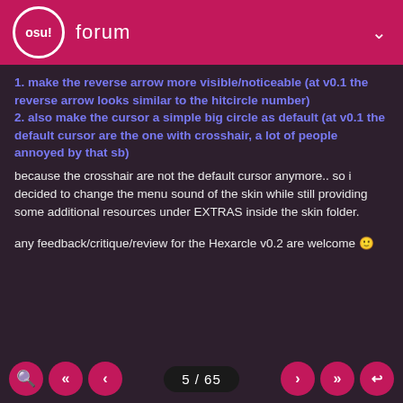osu! forum
1. make the reverse arrow more visible/noticeable (at v0.1 the reverse arrow looks similar to the hitcircle number)
2. also make the cursor a simple big circle as default (at v0.1 the default cursor are the one with crosshair, a lot of people annoyed by that sb)
because the crosshair are not the default cursor anymore.. so i decided to change the menu sound of the skin while still providing some additional resources under EXTRAS inside the skin folder.
any feedback/critique/review for the Hexarcle v0.2 are welcome 🙂
TOPIC STARTER
BDWZ 7 years ago
another feedback i got in-game
1. change approach circle into a simple circle
2. make scorebar/lifebar a non-animated one as default...
5 / 65